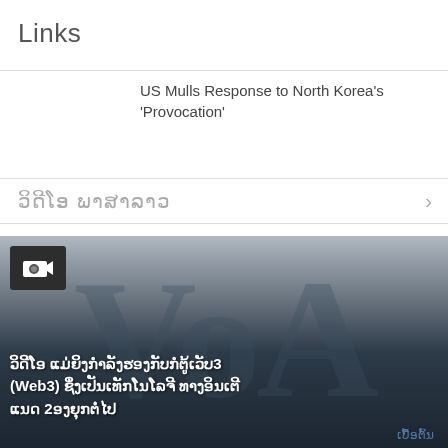Links
US Mulls Response to North Korea's 'Provocation'
ວິດີໂອ ພາສາລາວ
[Figure (screenshot): VOA video thumbnail with camera icon overlay. Shows VOA logo on dark gradient background with Lao text caption about Web3 technology.]
ວິດີໂອ ແມ່ຍິງກໍາລັງຮອງກັບກໍຕູ້ເວັບ3 (Web3) ຊຶ່ງເປັນເທັກໂນໂລຈີ ທາງອິນເຕີແນດ 2ອງຍຸກຕໍ່ໄປ
ເບື້ອຕົ້ນ